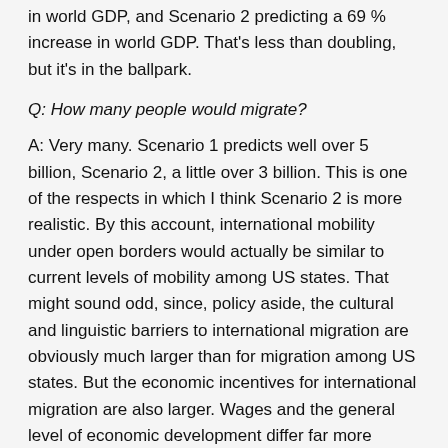in world GDP, and Scenario 2 predicting a 69% increase in world GDP. That's less than doubling, but it's in the ballpark.
Q: How many people would migrate?
A: Very many. Scenario 1 predicts well over 5 billion, Scenario 2, a little over 3 billion. This is one of the respects in which I think Scenario 2 is more realistic. By this account, international mobility under open borders would actually be similar to current levels of mobility among US states. That might sound odd, since, policy aside, the cultural and linguistic barriers to international migration are obviously much larger than for migration among US states. But the economic incentives for international migration are also larger. Wages and the general level of economic development differ far more among nations than across US states.